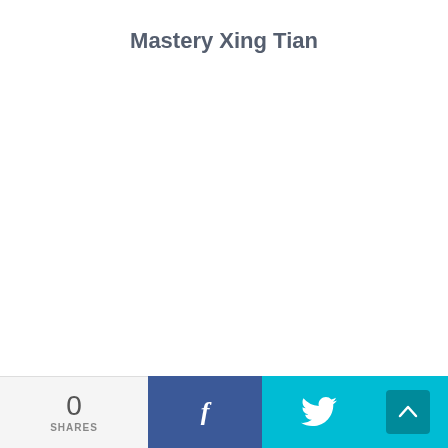Mastery Xing Tian
0 SHARES | Facebook share | Twitter share | Scroll up